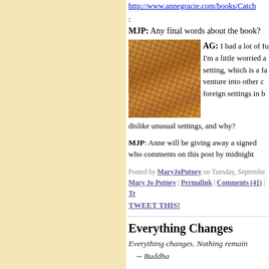http://www.annegracie.com/books/Catch
:
MJP:  Any final words about the book?
[Figure (photo): Photo of colorful woven textile/fabric rugs displayed together]
AG: I had a lot of fu... I'm a little worried a... setting, which is a fa... venture into other c... foreign settings in b... dislike unusual settings, and why?
MJP:  Anne will be giving away a signed... who comments on this post by midnight...
Posted by MaryJoPutney on Tuesday, Septembe... Mary Jo Putney | Permalink | Comments (41) | Tr... TWEET THIS!
Everything Changes
Everything changes. Nothing remain... -- Buddha